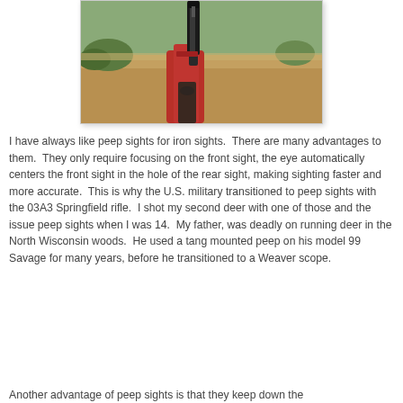[Figure (photo): A person holding a rifle aimed upward at an outdoor shooting range or desert scrubland environment. The shooter is wearing red clothing. The view is from behind/below looking up at the rifle muzzle against a sky with sparse desert vegetation and sandy ground in the background.]
I have always like peep sights for iron sights.  There are many advantages to them.  They only require focusing on the front sight, the eye automatically centers the front sight in the hole of the rear sight, making sighting faster and more accurate.  This is why the U.S. military transitioned to peep sights with the 03A3 Springfield rifle.  I shot my second deer with one of those and the issue peep sights when I was 14.  My father, was deadly on running deer in the North Wisconsin woods.  He used a tang mounted peep on his model 99 Savage for many years, before he transitioned to a Weaver scope.
Another advantage of peep sights is that they keep down the